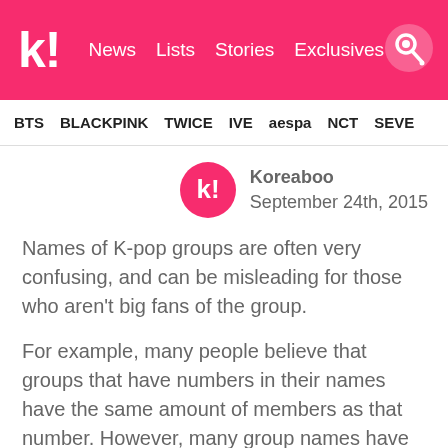k! News Lists Stories Exclusives
BTS BLACKPINK TWICE IVE aespa NCT SEVE
Koreaboo
September 24th, 2015
Names of K-pop groups are often very confusing, and can be misleading for those who aren't big fans of the group.
For example, many people believe that groups that have numbers in their names have the same amount of members as that number. However, many group names have deeper meanings, which can really confuse casual K-pop fans who are not part of the respective